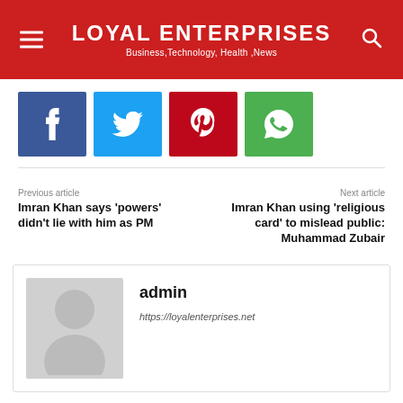LOYAL ENTERPRISES
Business,Technology, Health ,News
[Figure (other): Social share buttons: Facebook (blue), Twitter (cyan), Pinterest (red), WhatsApp (green)]
Previous article
Imran Khan says ‘powers’ didn’t lie with him as PM
Next article
Imran Khan using ‘religious card’ to mislead public: Muhammad Zubair
[Figure (other): Author avatar placeholder: grey silhouette of a person]
admin
https://loyalenterprises.net